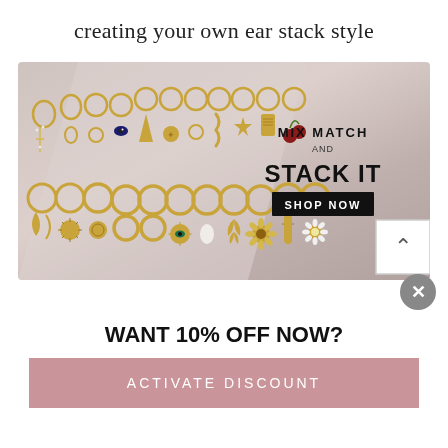creating your own ear stack style
[Figure (photo): Advertisement banner showing an array of gold earrings/charms arranged in two rows on a dusty pink background with text 'MIX MATCH AND STACK IT' and a 'SHOP NOW' button. A scroll-up arrow button and a close (X) button are visible in the bottom right corner.]
WANT 10% OFF NOW?
ACTIVATE DISCOUNT